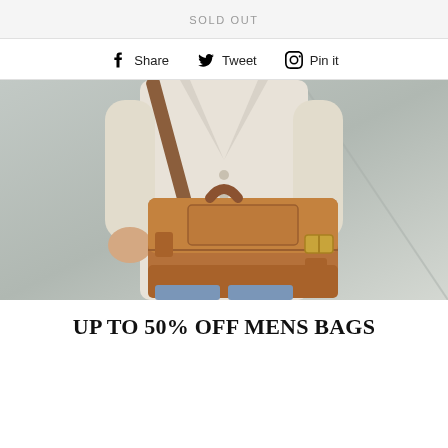SOLD OUT
Share  Tweet  Pin it
[Figure (photo): Person in a beige blazer and jeans holding a tan/cognac leather messenger bag with buckle straps, standing against a concrete wall]
UP TO 50% OFF MENS BAGS